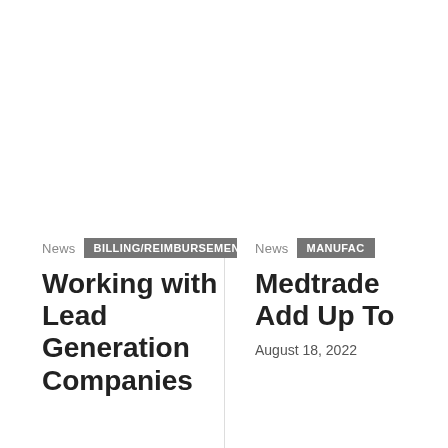News  BILLING/REIMBURSEMENT
Working with Lead Generation Companies
News  MANUFAC
Medtrade Add Up To
August 18, 2022